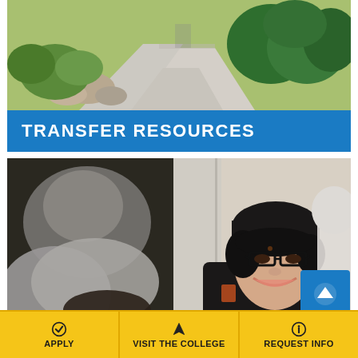[Figure (photo): Campus walkway with green bushes and trees, outdoor path]
TRANSFER RESOURCES
[Figure (photo): Students in a classroom setting; a smiling young person wearing a black beanie and glasses in the foreground]
APPLY
VISIT THE COLLEGE
REQUEST INFO